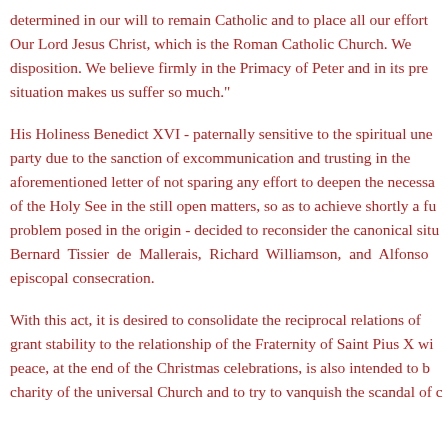determined in our will to remain Catholic and to place all our effort Our Lord Jesus Christ, which is the Roman Catholic Church. We disposition. We believe firmly in the Primacy of Peter and in its pre situation makes us suffer so much."
His Holiness Benedict XVI - paternally sensitive to the spiritual une party due to the sanction of excommunication and trusting in the aforementioned letter of not sparing any effort to deepen the necessa of the Holy See in the still open matters, so as to achieve shortly a fu problem posed in the origin - decided to reconsider the canonical situ Bernard Tissier de Mallerais, Richard Williamson, and Alfonso episcopal consecration.
With this act, it is desired to consolidate the reciprocal relations of grant stability to the relationship of the Fraternity of Saint Pius X wi peace, at the end of the Christmas celebrations, is also intended to b charity of the universal Church and to try to vanquish the scandal of c